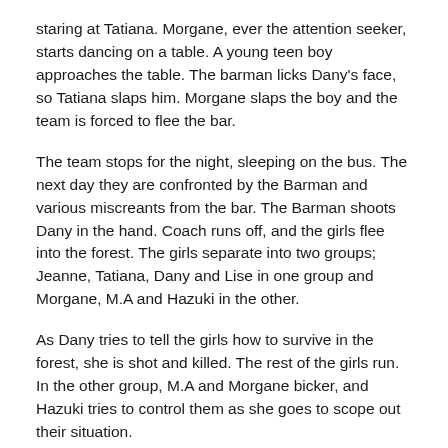staring at Tatiana. Morgane, ever the attention seeker, starts dancing on a table. A young teen boy approaches the table. The barman licks Dany's face, so Tatiana slaps him. Morgane slaps the boy and the team is forced to flee the bar.
The team stops for the night, sleeping on the bus. The next day they are confronted by the Barman and various miscreants from the bar. The Barman shoots Dany in the hand. Coach runs off, and the girls flee into the forest. The girls separate into two groups; Jeanne, Tatiana, Dany and Lise in one group and Morgane, M.A and Hazuki in the other.
As Dany tries to tell the girls how to survive in the forest, she is shot and killed. The rest of the girls run. In the other group, M.A and Morgane bicker, and Hazuki tries to control them as she goes to scope out their situation.